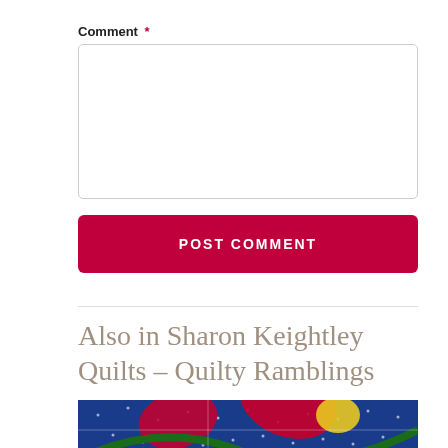Comment *
[Figure (screenshot): Empty comment text area input box with rounded border]
[Figure (screenshot): POST COMMENT button with crimson/dark red background and white uppercase text]
Also in Sharon Keightley Quilts – Quilty Ramblings
[Figure (photo): Close-up of a quilt with blue, red, green, and yellow fabric patches with white stitching]